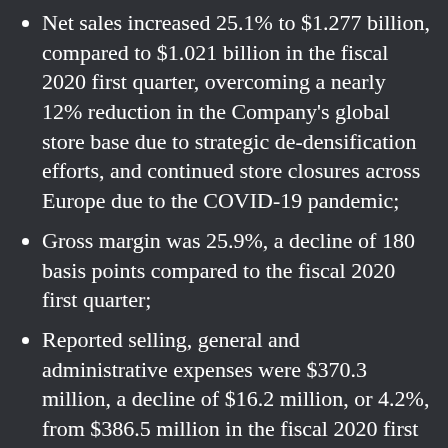Net sales increased 25.1% to $1.277 billion, compared to $1.021 billion in the fiscal 2020 first quarter, overcoming a nearly 12% reduction in the Company's global store base due to strategic de-densification efforts, and continued store closures across Europe due to the COVID-19 pandemic;
Gross margin was 25.9%, a decline of 180 basis points compared to the fiscal 2020 first quarter;
Reported selling, general and administrative expenses were $370.3 million, a decline of $16.2 million, or 4.2%, from $386.5 million in the fiscal 2020 first quarter. Adjusted for severance, transformation and other costs, selling, general and administrative expenses were $351.7 million, a decline of $29.5 million, or 7.7%, from $381.2 million in the fiscal 20...